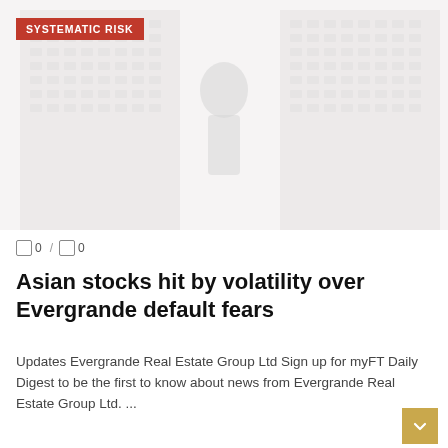[Figure (photo): Faded/washed out photo of tall residential or commercial tower buildings with a person figure in the foreground, used as hero image for the article about Evergrande]
SYSTEMATIC RISK
0  /  0
Asian stocks hit by volatility over Evergrande default fears
Updates Evergrande Real Estate Group Ltd Sign up for myFT Daily Digest to be the first to know about news from Evergrande Real Estate Group Ltd. ...
READ MORE